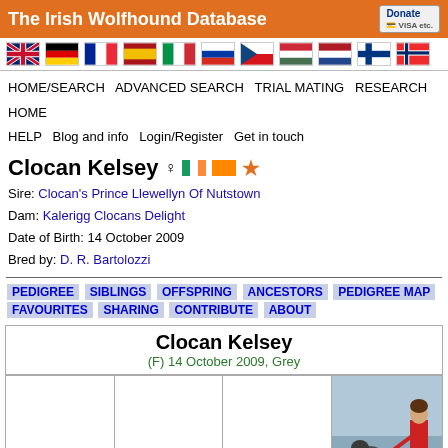The Irish Wolfhound Database
[Figure (illustration): Row of national flag icons: UK, Germany, France, Spain, Italy, Russia, Czech Republic, Hungary, Netherlands, Finland, Norway]
HOME/SEARCH   ADVANCED SEARCH   TRIAL MATING   RESEARCH HOME   HELP   Blog and info   Login/Register   Get in touch
Clocan Kelsey ♀ (Irish flag) (orange flag) (star)
Sire: Clocan's Prince Llewellyn Of Nutstown
Dam: Kalerigg Clocans Delight
Date of Birth: 14 October 2009
Bred by: D. R. Bartolozzi
PEDIGREE   SIBLINGS   OFFSPRING   ANCESTORS   PEDIGREE MAP   FAVOURITES   SHARING   CONTRIBUTE   ABOUT
| Col1 | Col2 | Col3 | Col4 |
| --- | --- | --- | --- |
| Clocan Kelsey
(F) 14 October 2009, Grey |  |  |  |
|  |  |  | [photo of person with large dog] |